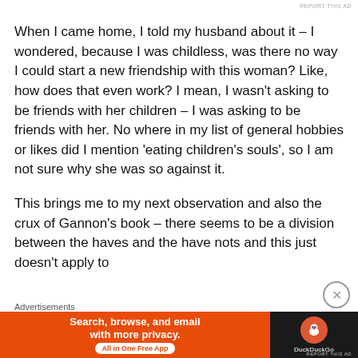REPORT THIS AD
When I came home, I told my husband about it – I wondered, because I was childless, was there no way I could start a new friendship with this woman? Like, how does that even work? I mean, I wasn't asking to be friends with her children – I was asking to be friends with her. No where in my list of general hobbies or likes did I mention 'eating children's souls', so I am not sure why she was so against it.
This brings me to my next observation and also the crux of Gannon's book – there seems to be a division between the haves and the have nots and this just doesn't apply to
Advertisements
[Figure (other): DuckDuckGo advertisement banner: orange left panel with text 'Search, browse, and email with more privacy. All in One Free App' and dark right panel with DuckDuckGo logo and duck icon.]